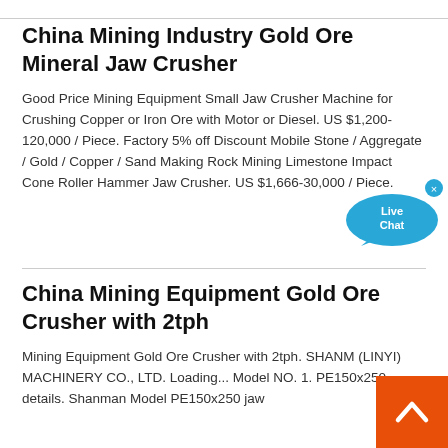China Mining Industry Gold Ore Mineral Jaw Crusher
Good Price Mining Equipment Small Jaw Crusher Machine for Crushing Copper or Iron Ore with Motor or Diesel. US $1,200-120,000 / Piece. Factory 5% off Discount Mobile Stone / Aggregate / Gold / Copper / Sand Making Rock Mining Limestone Impact Cone Roller Hammer Jaw Crusher. US $1,666-30,000 / Piece.
China Mining Equipment Gold Ore Crusher with 2tph
Mining Equipment Gold Ore Crusher with 2tph. SHANM (LINYI) MACHINERY CO., LTD. Loading... Model NO. 1. PE150x250 details. Shanman Model PE150x250 jaw...